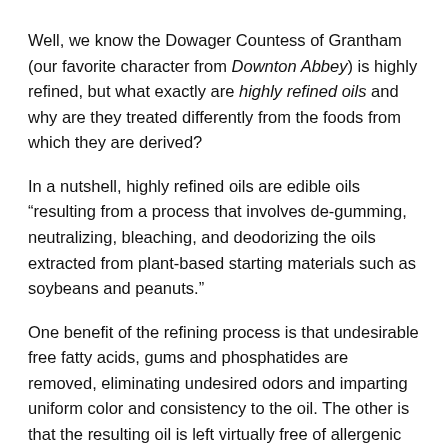Well, we know the Dowager Countess of Grantham (our favorite character from Downton Abbey) is highly refined, but what exactly are highly refined oils and why are they treated differently from the foods from which they are derived?
In a nutshell, highly refined oils are edible oils “resulting from a process that involves de-gumming, neutralizing, bleaching, and deodorizing the oils extracted from plant-based starting materials such as soybeans and peanuts.”
One benefit of the refining process is that undesirable free fatty acids, gums and phosphatides are removed, eliminating undesired odors and imparting uniform color and consistency to the oil. The other is that the resulting oil is left virtually free of allergenic proteins, according to the Institute of Shortening and Edible Oils (ISEO).